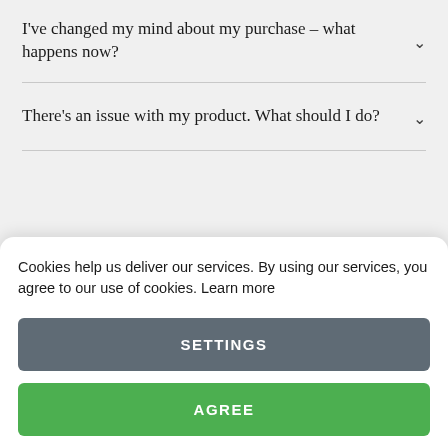I've changed my mind about my purchase – what happens now?
There's an issue with my product. What should I do?
Cookies help us deliver our services. By using our services, you agree to our use of cookies. Learn more
SETTINGS
AGREE